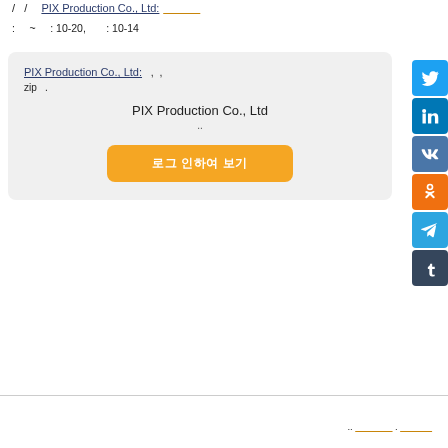/ / PIX Production Co., Ltd: ___ : ~ : 10-20, : 10-14
PIX Production Co., Ltd: , , zip . PIX Production Co., Ltd ..
로그 인하여 보기
.. _____ . ____